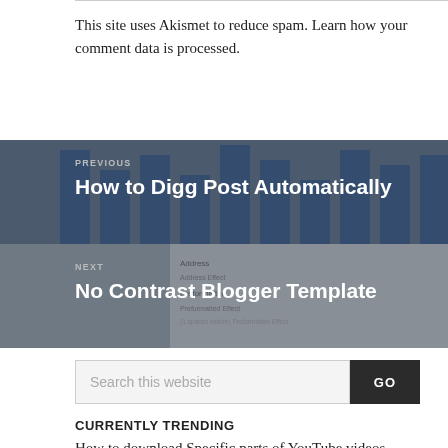This site uses Akismet to reduce spam. Learn how your comment data is processed.
[Figure (screenshot): Navigation block for previous post 'How to Digg Post Automatically' with dark blue bar chart background graphic]
[Figure (screenshot): Navigation block for next post 'No Contrast Blogger Template' with screenshot of blog template]
[Figure (other): Search bar with text 'Search this website' and GO button]
CURRENTLY TRENDING
How to download Specific parts of YouTube videos